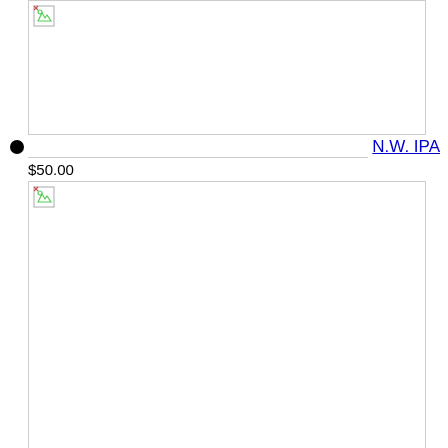N.W. IPA
$50.00
[Figure (photo): Product image placeholder (broken image) for N.W. IPA]
Mad Hops
Keg Infuser (Deposit) $50.00
[Figure (photo): Product image placeholder (broken image) for Keg Infuser]